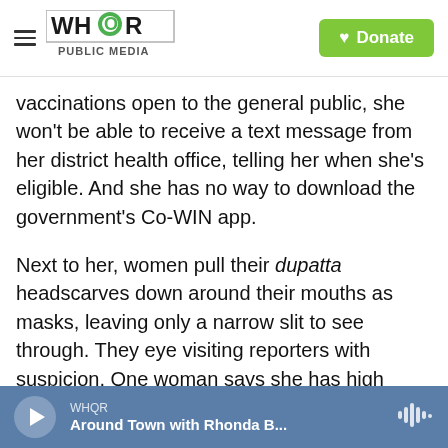WHQR PUBLIC MEDIA | Donate
vaccinations open to the general public, she won't be able to receive a text message from her district health office, telling her when she's eligible. And she has no way to download the government's Co-WIN app.
Next to her, women pull their dupatta headscarves down around their mouths as masks, leaving only a narrow slit to see through. They eye visiting reporters with suspicion. One woman says she has high blood pressure, and that NPR's microphone – she'd never seen one before — makes her uneasy. She's worried it could give her the coronavirus, she
WHQR | Around Town with Rhonda B...